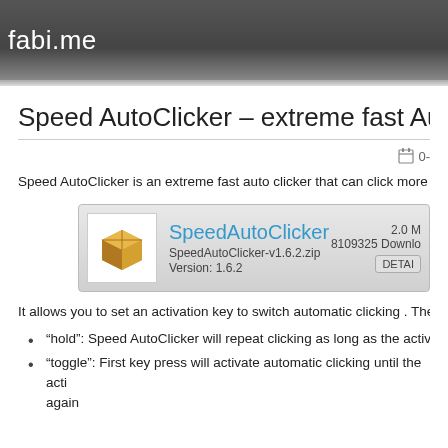fabi.me
Speed AutoClicker – extreme fast Auto Clicker
04-...
Speed AutoClicker is an extreme fast auto clicker that can click more than
[Figure (other): Download box for SpeedAutoClicker showing a gold box icon, title SpeedAutoClicker in blue, filename SpeedAutoClicker-v1.6.2.zip, Version: 1.6.2, size 2.0 MB, 8109325 Downloads, and a DETAILS button.]
It allows you to set an activation key to switch automatic clicking . There ar
"hold": Speed AutoClicker will repeat clicking as long as the activatio
"toggle": First key press will activate automatic clicking until the acti again